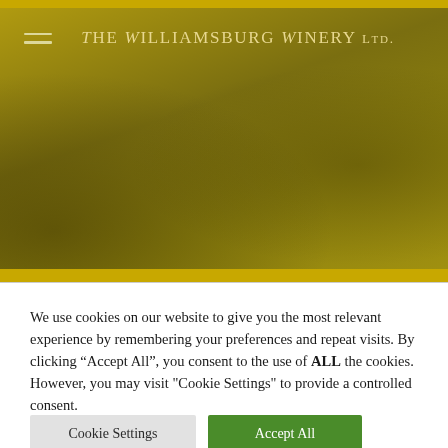[Figure (screenshot): Website header banner for The Williamsburg Winery Ltd. with a golden/olive textured background showing a vineyard scene. A hamburger menu icon appears in the top left, and the winery name is centered in elegant serif text.]
The Williamsburg Winery Ltd.
We use cookies on our website to give you the most relevant experience by remembering your preferences and repeat visits. By clicking “Accept All”, you consent to the use of ALL the cookies. However, you may visit "Cookie Settings" to provide a controlled consent.
Cookie Settings | Accept All